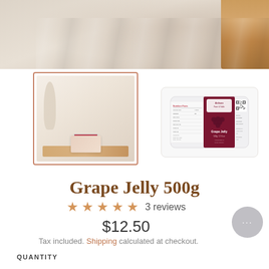[Figure (photo): Hero image showing cream/white fabric draped with a wooden board visible in upper right corner]
[Figure (photo): Selected thumbnail: product (Grape Jelly box) on a wooden tray with fabric background, surrounded by decorative vase]
[Figure (photo): Second thumbnail: front packaging of Grape Jelly 500g product showing nutrition facts, brand logo, and QR code]
Grape Jelly 500g
★★★★★ 3 reviews
$12.50
Tax included. Shipping calculated at checkout.
QUANTITY